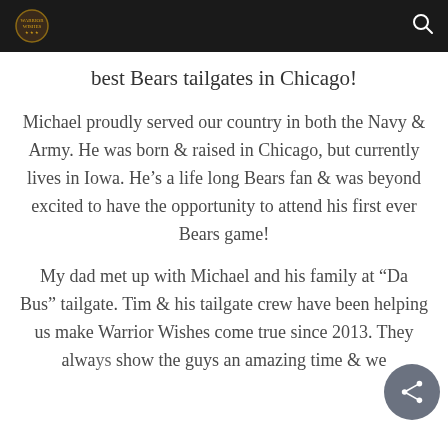[logo] [search icon]
best Bears tailgates in Chicago!
Michael proudly served our country in both the Navy & Army. He was born & raised in Chicago, but currently lives in Iowa. He’s a life long Bears fan & was beyond excited to have the opportunity to attend his first ever Bears game!
My dad met up with Michael and his family at “Da Bus” tailgate. Tim & his tailgate crew have been helping us make Warrior Wishes come true since 2013. They always show the guys an amazing time & we